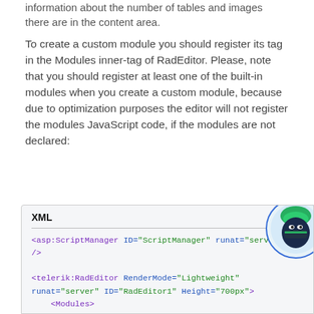information about the number of tables and images there are in the content area.
To create a custom module you should register its tag in the Modules inner-tag of RadEditor. Please, note that you should register at least one of the built-in modules when you create a custom module, because due to optimization purposes the editor will not register the modules JavaScript code, if the modules are not declared:
[Figure (screenshot): Code box showing XML tab with a ninja mascot icon and XML code snippet including asp:ScriptManager and telerik:RadEditor with Modules containing telerik:EditorModule]